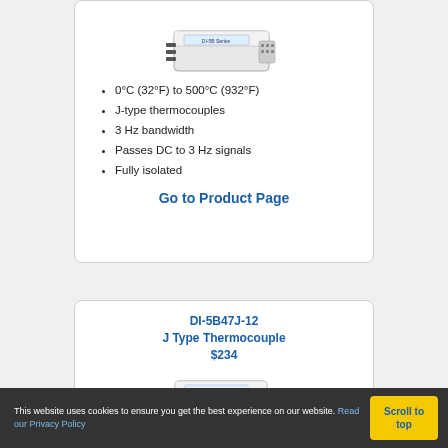[Figure (photo): DI-5B thermocouple signal conditioner module photo]
0°C (32°F) to 500°C (932°F)
J-type thermocouples
3 Hz bandwidth
Passes DC to 3 Hz signals
Fully isolated
Go to Product Page
DI-5B47J-12
J Type Thermocouple
$234
[Figure (photo): DI-5B47J-12 J Type Thermocouple module photo]
This website uses cookies to ensure you get the best experience on our website. Read our Privacy Policy